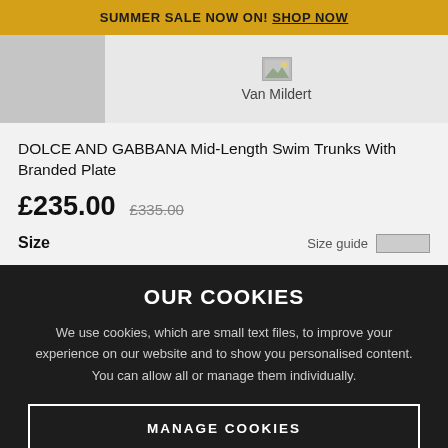SUMMER SALE NOW ON! SHOP NOW
[Figure (logo): Van Mildert logo with small image placeholder above the brand name text]
DOLCE AND GABBANA Mid-Length Swim Trunks With Branded Plate
£235.00 £335.00
Size    Size guide
OUR COOKIES
We use cookies, which are small text files, to improve your experience on our website and to show you personalised content. You can allow all or manage them individually.
MANAGE COOKIES
ALLOW ALL